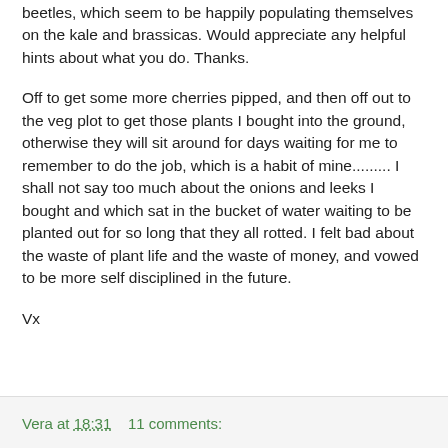beetles, which seem to be happily populating themselves on the kale and brassicas. Would appreciate any helpful hints about what you do. Thanks.
Off to get some more cherries pipped, and then off out to the veg plot to get those plants I bought into the ground, otherwise they will sit around for days waiting for me to remember to do the job, which is a habit of mine......... I shall not say too much about the onions and leeks I bought and which sat in the bucket of water waiting to be planted out for so long that they all rotted. I felt bad about the waste of plant life and the waste of money, and vowed to be more self disciplined in the future.
Vx
Vera at 18:31    11 comments: